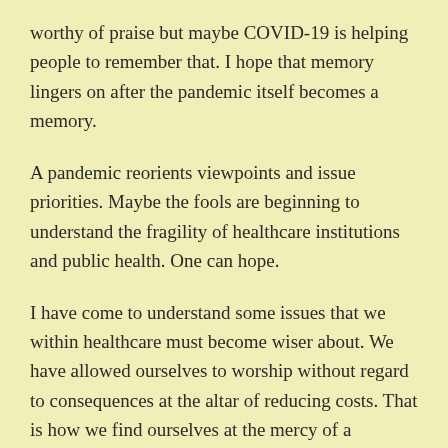worthy of praise but maybe COVID-19 is helping people to remember that. I hope that memory lingers on after the pandemic itself becomes a memory.
A pandemic reorients viewpoints and issue priorities. Maybe the fools are beginning to understand the fragility of healthcare institutions and public health. One can hope.
I have come to understand some issues that we within healthcare must become wiser about. We have allowed ourselves to worship without regard to consequences at the altar of reducing costs. That is how we find ourselves at the mercy of a totalitarian country which produces most of the basic supplies like masks and gowns used in healthcare facilities. We need to be